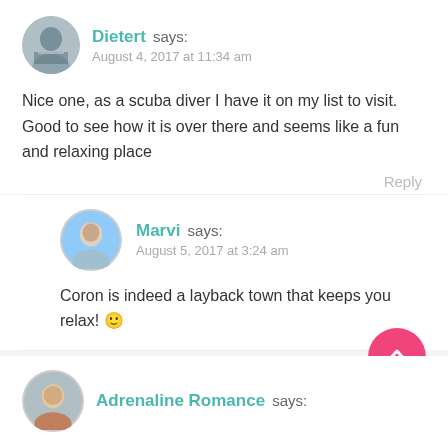Dietert says:
August 4, 2017 at 11:34 am
Nice one, as a scuba diver I have it on my list to visit. Good to see how it is over there and seems like a fun and relaxing place
Reply
Marvi says:
August 5, 2017 at 3:24 am
Coron is indeed a layback town that keeps you relax! 🙂
Adrenaline Romance says: